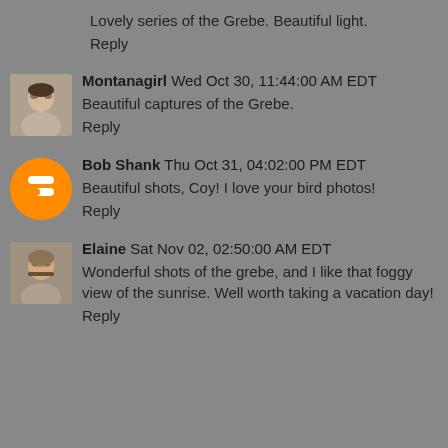Lovely series of the Grebe. Beautiful light.
Reply
Montanagirl  Wed Oct 30, 11:44:00 AM EDT
Beautiful captures of the Grebe.
Reply
Bob Shank  Thu Oct 31, 04:02:00 PM EDT
Beautiful shots, Coy! I love your bird photos!
Reply
Elaine  Sat Nov 02, 02:50:00 AM EDT
Wonderful shots of the grebe, and I like that foggy view of the sunrise. Well worth taking a vacation day!
Reply